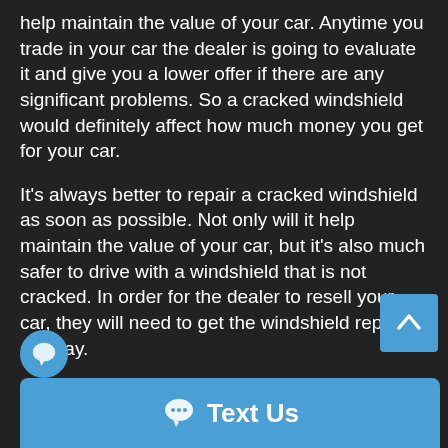help maintain the value of your car. Anytime you trade in your car the dealer is going to evaluate it and give you a lower offer if there are any significant problems. So a cracked windshield would definitely affect how much money you get for your car.
It's always better to repair a cracked windshield as soon as possible. Not only will it help maintain the value of your car, but it's also much safer to drive with a windshield that is not cracked. In order for the dealer to resell your car, they will need to get the windshield repaired anyway.
If you have comprehensive coverage on your insurance policy, then it will likely cover the replacement of your windshield if it needs to be replaced. However, if you only have liability coverage, then you will be responsible for the entire cost of replacing your windshield.
If